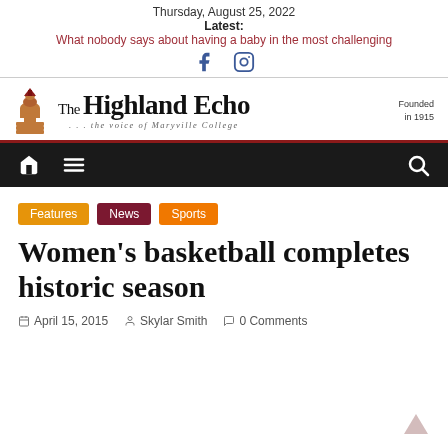Thursday, August 25, 2022
Latest:
What nobody says about having a baby in the most challenging
[Figure (logo): The Highland Echo newspaper masthead logo with bell tower icon, title 'The Highland Echo', subtitle '... the voice of Maryville College', and 'Founded in 1915']
[Figure (infographic): Navigation bar with home icon, menu icon, and search icon on dark background]
Features  News  Sports
Women's basketball completes historic season
April 15, 2015  Skylar Smith  0 Comments